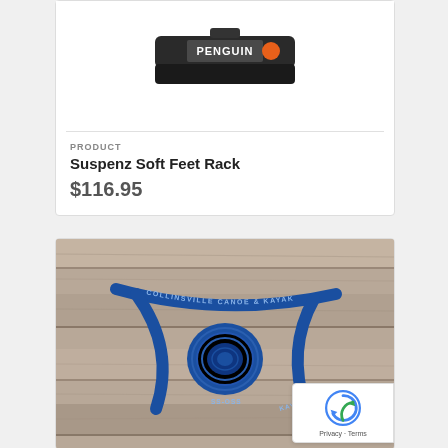[Figure (photo): Suspenz Soft Feet Rack product photo showing a black padded rack/bag against white background with Penguin logo visible]
PRODUCT
Suspenz Soft Feet Rack
$116.95
[Figure (photo): Blue Collinsville Canoe & Kayak branded straps coiled on a weathered wooden surface]
Privacy · Terms